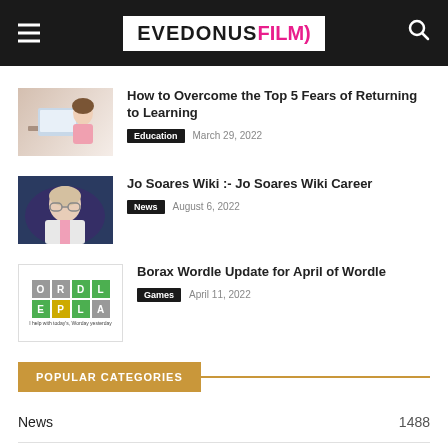EVEDONUS FILM
How to Overcome the Top 5 Fears of Returning to Learning
Education   March 29, 2022
Jo Soares Wiki :- Jo Soares Wiki Career
News   August 6, 2022
Borax Wordle Update for April of Wordle
Games   April 11, 2022
POPULAR CATEGORIES
News   1488
Entertainment   1483